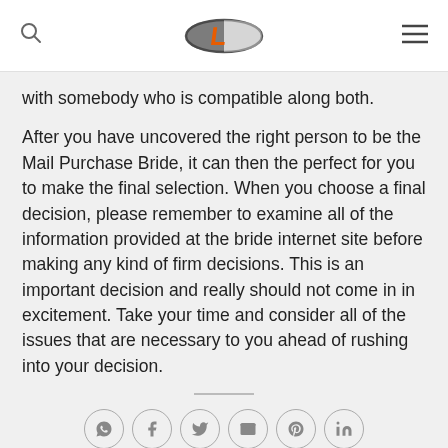Logo header with search and menu icons
with somebody who is compatible along both.
After you have uncovered the right person to be the Mail Purchase Bride, it can then the perfect for you to make the final selection. When you choose a final decision, please remember to examine all of the information provided at the bride internet site before making any kind of firm decisions. This is an important decision and really should not come in in excitement. Take your time and consider all of the issues that are necessary to you ahead of rushing into your decision.
[Figure (other): Social share icons row: WhatsApp, Facebook, Twitter, Email, Pinterest, LinkedIn]